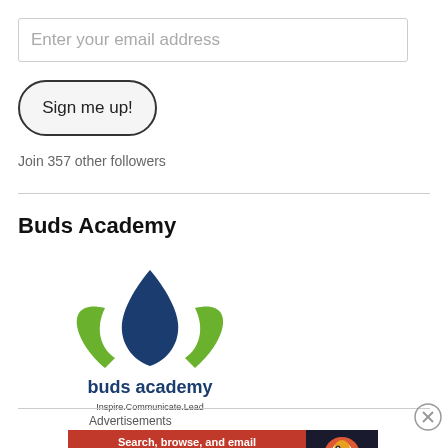Enter your email address
Sign me up!
Join 357 other followers
Buds Academy
[Figure (logo): Buds Academy logo: a dark blue flame shape with two green leaves on either side, text 'buds academy' in dark blue below, tagline 'Inspire.Communicate.Lead' in smaller text]
Advertisements
[Figure (screenshot): DuckDuckGo advertisement banner: orange background on left with text 'Search, browse, and email with more privacy. All in One Free App' and DuckDuckGo logo on dark right side]